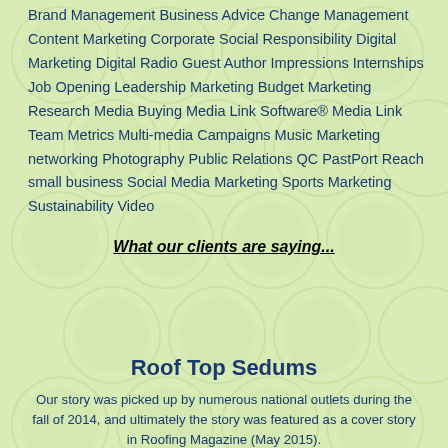Brand Management Business Advice Change Management Content Marketing Corporate Social Responsibility Digital Marketing Digital Radio Guest Author Impressions Internships Job Opening Leadership Marketing Budget Marketing Research Media Buying Media Link Software® Media Link Team Metrics Multi-media Campaigns Music Marketing networking Photography Public Relations QC PastPort Reach small business Social Media Marketing Sports Marketing Sustainability Video
What our clients are saying...
Roof Top Sedums
Our story was picked up by numerous national outlets during the fall of 2014, and ultimately the story was featured as a cover story in Roofing Magazine (May 2015).